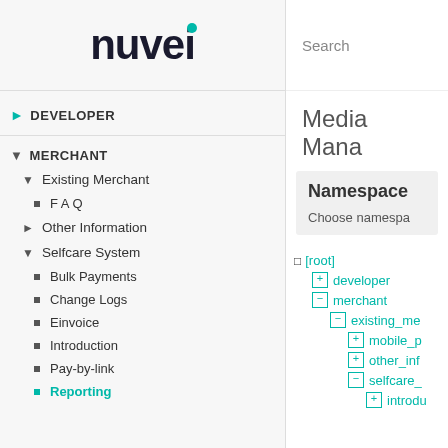[Figure (logo): Nuvei logo with teal dot above the letter i]
DEVELOPER
MERCHANT
Existing Merchant
F A Q
Other Information
Selfcare System
Bulk Payments
Change Logs
Einvoice
Introduction
Pay-by-link
Reporting
Search
Media Mana
Namespace
Choose namespa
[root]
developer
merchant
existing_me
mobile_p
other_inf
selfcare_
introdu